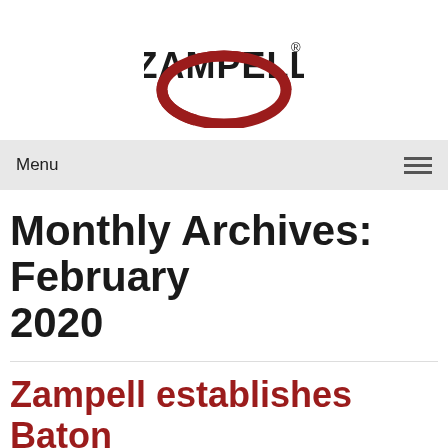[Figure (logo): Zampell logo: bold black ZAMPELL text with registered trademark symbol above a dark red oval/ellipse shape]
Menu
Monthly Archives: February 2020
Zampell establishes Baton Rouge, Louisiana operation
Posted on February 13, 2020 by joseph.sousa